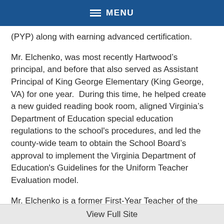MENU
(PYP) along with earning advanced certification.
Mr. Elchenko, was most recently Hartwood’s principal, and before that also served as Assistant Principal of King George Elementary (King George, VA) for one year.  During this time, he helped create a new guided reading book room, aligned Virginia’s Department of Education special education regulations to the school's procedures, and led the county-wide team to obtain the School Board’s approval to implement the Virginia Department of Education's Guidelines for the Uniform Teacher Evaluation model.
Mr. Elchenko is a former First-Year Teacher of the Year
View Full Site